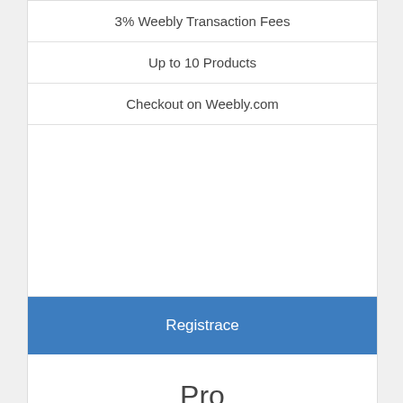3% Weebly Transaction Fees
Up to 10 Products
Checkout on Weebly.com
Registrace
Pro
Ideal for Groups + Organizations
$13.99 USD/mo